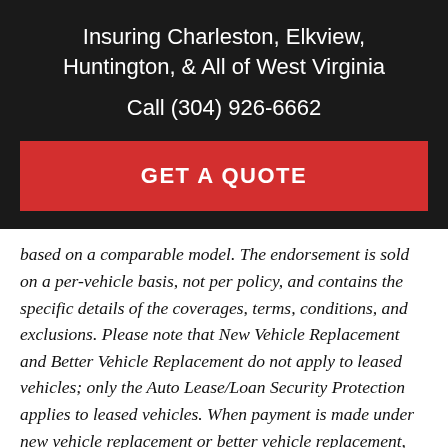Insuring Charleston, Elkview, Huntington, & All of West Virginia
Call (304) 926-6662
GET A QUOTE
based on a comparable model. The endorsement is sold on a per-vehicle basis, not per policy, and contains the specific details of the coverages, terms, conditions, and exclusions. Please note that New Vehicle Replacement and Better Vehicle Replacement do not apply to leased vehicles; only the Auto Lease/Loan Security Protection applies to leased vehicles. When payment is made under new vehicle replacement or better vehicle replacement, auto lease/loan coverage